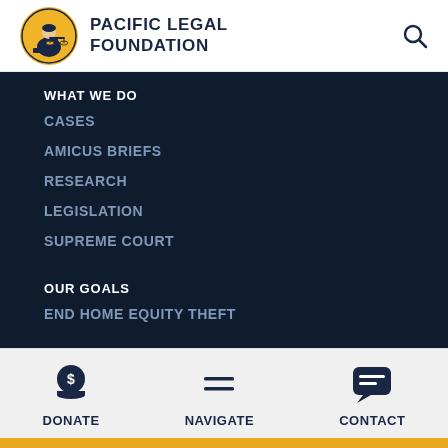[Figure (logo): Pacific Legal Foundation logo with circular yellow emblem showing scales of justice figure and organization name text]
WHAT WE DO
CASES
AMICUS BRIEFS
RESEARCH
LEGISLATION
SUPREME COURT
OUR GOALS
END HOME EQUITY THEFT
[Figure (infographic): Bottom navigation bar with three icons: DONATE (dollar coin icon), NAVIGATE (hamburger menu), CONTACT (speech bubble icon)]